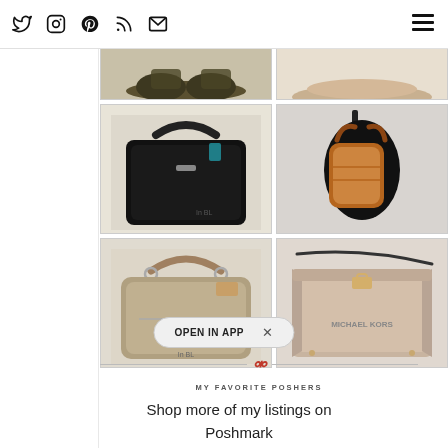Social media icons: Twitter, Instagram, Pinterest, RSS, Email | Hamburger menu
[Figure (photo): Grid of handbag product photos: top row partially visible shoes/flats; middle row black Coach bag and brown leather tote on mannequin; bottom row tan/khaki Coach bag and nude/blush Michael Kors crossbody bag]
OPEN IN APP  ×
MY FAVORITE POSHERS
Shop more of my listings on Poshmark